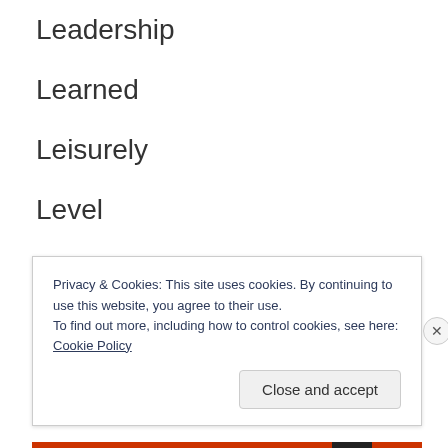Leadership
Learned
Leisurely
Level
Light
Light-hearted
Privacy & Cookies: This site uses cookies. By continuing to use this website, you agree to their use.
To find out more, including how to control cookies, see here: Cookie Policy